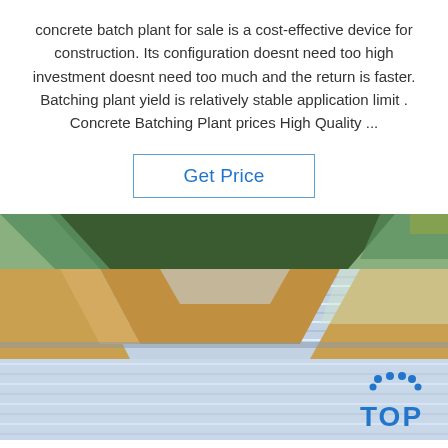concrete batch plant for sale is a cost-effective device for construction. Its configuration doesnt need too high investment doesnt need too much and the return is faster. Batching plant yield is relatively stable application limit . Concrete Batching Plant prices High Quality ...
[Figure (other): Button labeled 'Get Price' with blue text and a rectangular border]
[Figure (photo): Photo of stacked metal sheets (aluminum or steel) partially wrapped in brown cardboard and green/yellow tape, with a blue 'TOP' watermark logo in the bottom right corner]